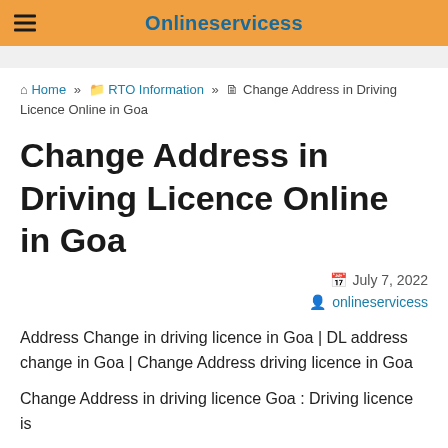Onlineservicess
Home » RTO Information » Change Address in Driving Licence Online in Goa
Change Address in Driving Licence Online in Goa
July 7, 2022
onlineservicess
Address Change in driving licence in Goa | DL address change in Goa | Change Address driving licence in Goa
Change Address in driving licence Goa : Driving licence is